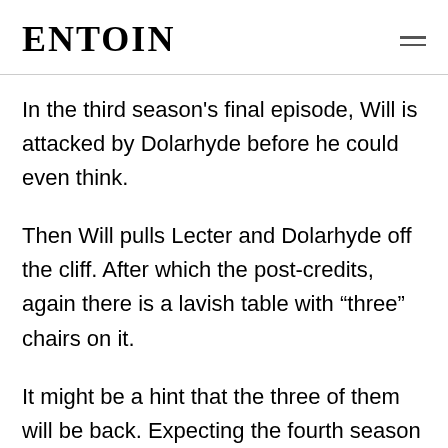ENTOIN
In the third season's final episode, Will is attacked by Dolarhyde before he could even think.
Then Will pulls Lecter and Dolarhyde off the cliff. After which the post-credits, again there is a lavish table with “three” chairs on it.
It might be a hint that the three of them will be back. Expecting the fourth season to start where the third season ended, we might again